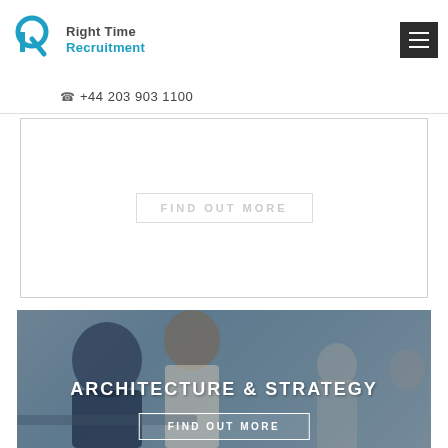[Figure (logo): Right Time Recruitment logo with teal R icon and company name]
+44 203 903 1100
[Figure (other): White bordered box with faint FIND OUT MORE button]
[Figure (photo): Office photo showing two men looking at a laptop, blurred office background]
ARCHITECTURE & STRATEGY
FIND OUT MORE